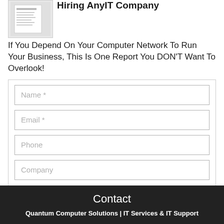Hiring AnyIT Company
If You Depend On Your Computer Network To Run Your Business, This Is One Report You DON'T Want To Overlook!
[Figure (other): Book/report cover image thumbnail]
Name *
Email *
Phone
Company
GET MY FREE COPY
Contact
Quantum Computer Solutions | IT Services & IT Support